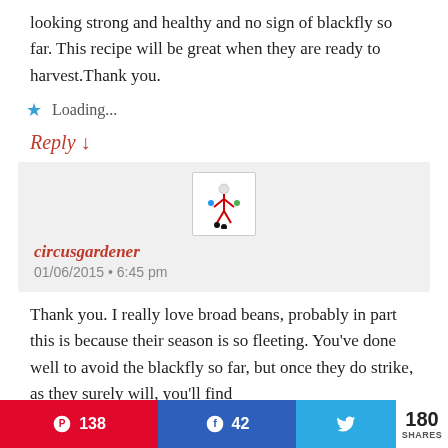looking strong and healthy and no sign of blackfly so far. This recipe will be great when they are ready to harvest.Thank you.
Loading...
Reply ↓
circusgardener
01/06/2015 • 6:45 pm
Thank you. I really love broad beans, probably in part this is because their season is so fleeting. You've done well to avoid the blackfly so far, but once they do strike, as they surely will, you'll find